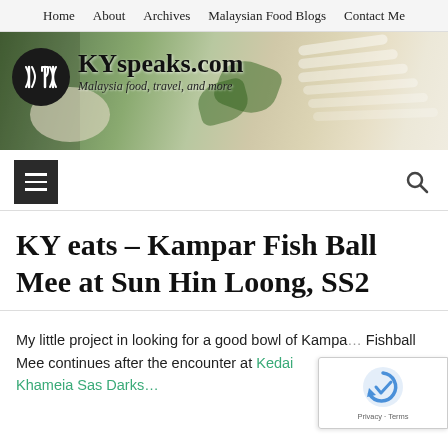Home | About | Archives | Malaysian Food Blogs | Contact Me
[Figure (illustration): KYspeaks.com blog header banner with logo circle on dark background showing fork/spoon icon, site title 'KYspeaks.com', subtitle 'Malaysia food, travel, and more', and food photography background showing sliced mushrooms and greens]
[Figure (other): Hamburger menu button (dark square with three horizontal lines) on left and search icon (magnifying glass) on right]
KY eats – Kampar Fish Ball Mee at Sun Hin Loong, SS2
My little project in looking for a good bowl of Kampar Fishball Mee continues after the encounter at Kedai Khameia Sas Darks...